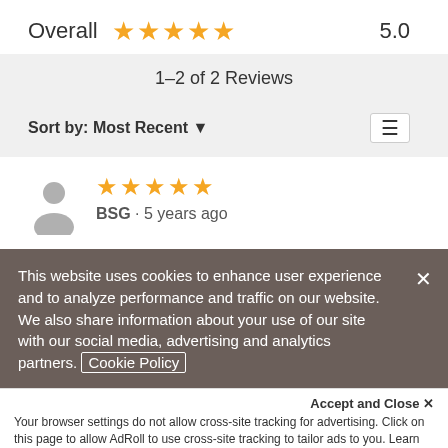Overall ★★★★★ 5.0
1–2 of 2 Reviews
Sort by: Most Recent ▼
[Figure (illustration): User avatar icon (gray silhouette) with 5 gold stars and reviewer info: BSG · 5 years ago]
This website uses cookies to enhance user experience and to analyze performance and traffic on our website. We also share information about your use of our site with our social media, advertising and analytics partners. Cookie Policy
Accept and Close ✕
Your browser settings do not allow cross-site tracking for advertising. Click on this page to allow AdRoll to use cross-site tracking to tailor ads to you. Learn more or opt out of this AdRoll tracking by clicking here. This message only appears once.